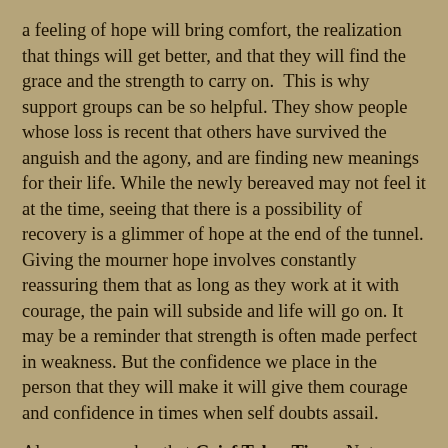a feeling of hope will bring comfort, the realization that things will get better, and that they will find the grace and the strength to carry on.  This is why support groups can be so helpful. They show people whose loss is recent that others have survived the anguish and the agony, and are finding new meanings for their life. While the newly bereaved may not feel it at the time, seeing that there is a possibility of recovery is a glimmer of hope at the end of the tunnel. Giving the mourner hope involves constantly reassuring them that as long as they work at it with courage, the pain will subside and life will go on. It may be a reminder that strength is often made perfect in weakness. But the confidence we place in the person that they will make it will give them courage and confidence in times when self doubts assail.
Always remember that Grief Takes Time.  Not everyone goes through the same process, and none should think they are. Many of us who are grief for